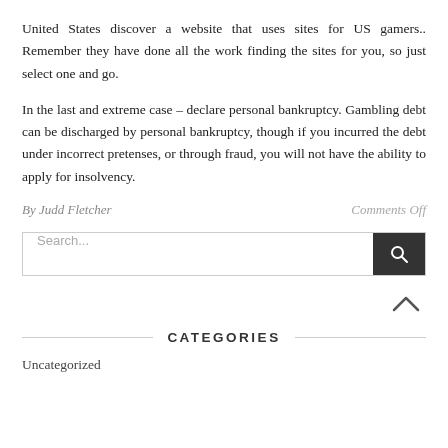United States discover a website that uses sites for US gamers.. Remember they have done all the work finding the sites for you, so just select one and go.
In the last and extreme case – declare personal bankruptcy. Gambling debt can be discharged by personal bankruptcy, though if you incurred the debt under incorrect pretenses, or through fraud, you will not have the ability to apply for insolvency.
By Judd Fletcher    Comments Off
Search...
CATEGORIES
Uncategorized